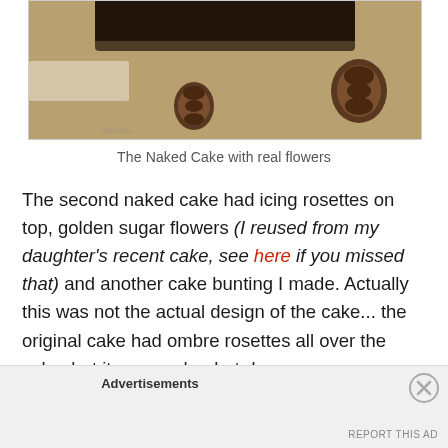[Figure (photo): Close-up photo of a rustic naked cake on a wooden stand decorated with pine cones and lace, on a burlap background]
The Naked Cake with real flowers
The second naked cake had icing rosettes on top, golden sugar flowers (I reused from my daughter’s recent cake, see here if you missed that) and another cake bunting I made. Actually this was not the actual design of the cake... the original cake had ombre rosettes all over the cake, but it was such a hot day
Advertisements